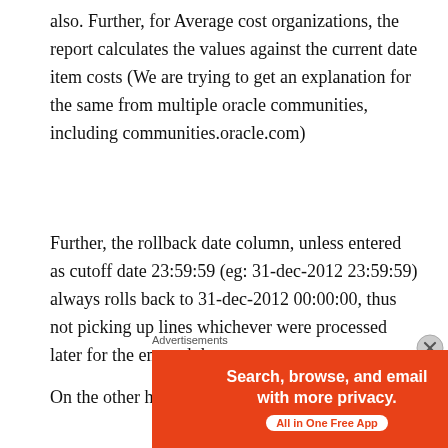also. Further, for Average cost organizations, the report calculates the values against the current date item costs (We are trying to get an explanation for the same from multiple oracle communities, including communities.oracle.com)
Further, the rollback date column, unless entered as cutoff date 23:59:59 (eg: 31-dec-2012 23:59:59) always rolls back to 31-dec-2012 00:00:00, thus not picking up lines whichever were processed later for the entered date.
On the other hand Transaction Historical S...
[Figure (other): DuckDuckGo advertisement banner: 'Search, browse, and email with more privacy. All in One Free App' with DuckDuckGo logo on dark background.]